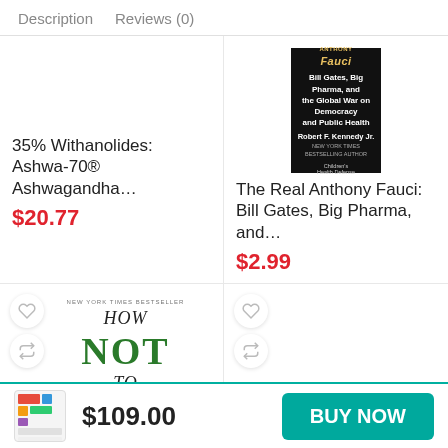Description   Reviews (0)
[Figure (screenshot): Product grid showing 4 items: top-left empty image area for Ashwagandha product, top-right book cover for The Real Anthony Fauci, bottom-left book cover for How Not To Die, bottom-right empty with wishlist/compare buttons]
35% Withanolides: Ashwa-70® Ashwagandha…
The Real Anthony Fauci: Bill Gates, Big Pharma, and…
$20.77
$2.99
$109.00   BUY NOW